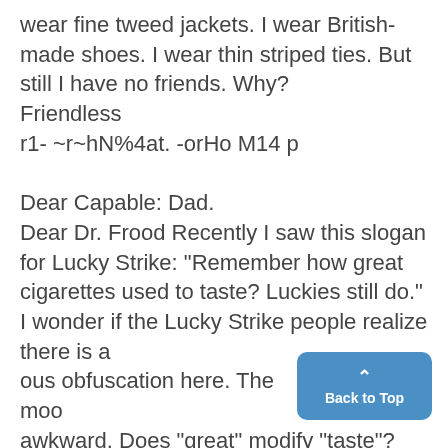wear fine tweed jackets. I wear British-made shoes. I wear thin striped ties. But still I have no friends. Why?
Friendless
r1- ~r~hN%4at. -orHo M14 p

Dear Capable: Dad.
Dear Dr. Frood Recently I saw this slogan for Lucky Strike: "Remember how great cigarettes used to taste? Luckies still do." I wonder if the Lucky Strike people realize there is a ous obfuscation here. The moo awkward. Does "great" modify "taste"?